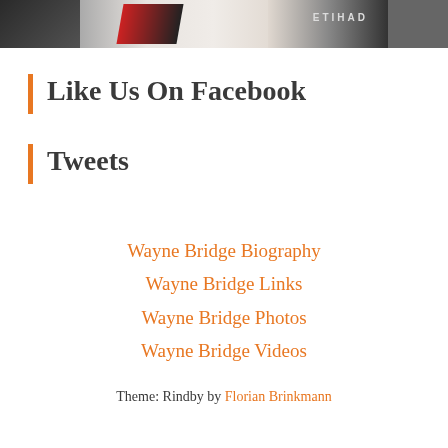[Figure (photo): Partial photo of a footballer wearing a white jersey with Etihad Airways sponsorship, cropped at the top of the page]
Like Us On Facebook
Tweets
Wayne Bridge Biography
Wayne Bridge Links
Wayne Bridge Photos
Wayne Bridge Videos
Theme: Rindby by Florian Brinkmann